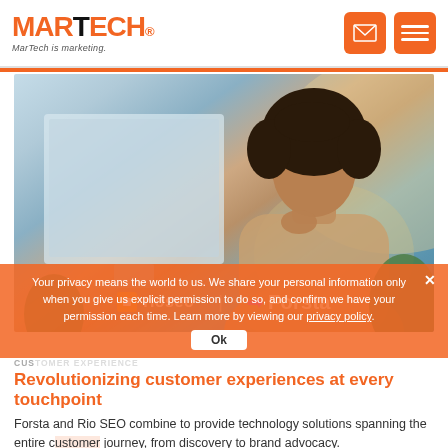MARTECH — MarTech is marketing.
[Figure (photo): Woman with curly hair sitting at a desk looking thoughtfully at a computer monitor. The image has warm and cool tones. Overlaid are the Rio SEO and Forsta logos in the lower center of the image.]
Your privacy means the world to us. We share your personal information only when you give us explicit permission to do so, and confirm we have your permission each time. Learn more by viewing our privacy policy. Ok
Revolutionizing customer experiences at every touchpoint
Forsta and Rio SEO combine to provide technology solutions spanning the entire customer journey, from discovery to brand advocacy.